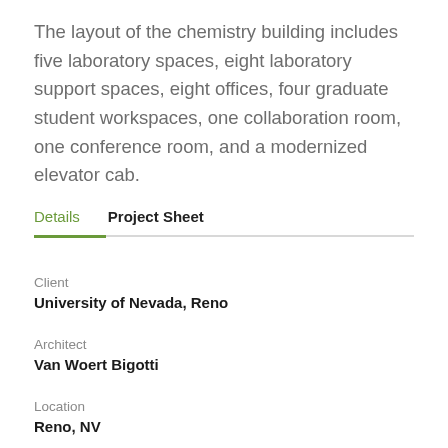The layout of the chemistry building includes five laboratory spaces, eight laboratory support spaces, eight offices, four graduate student workspaces, one collaboration room, one conference room, and a modernized elevator cab.
Details   Project Sheet
Client
University of Nevada, Reno
Architect
Van Woert Bigotti
Location
Reno, NV